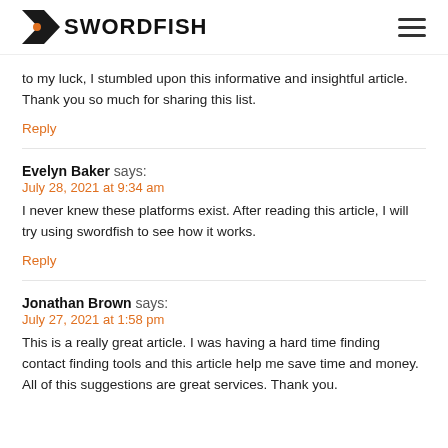SWORDFISH
to my luck, I stumbled upon this informative and insightful article. Thank you so much for sharing this list.
Reply
Evelyn Baker says:
July 28, 2021 at 9:34 am
I never knew these platforms exist. After reading this article, I will try using swordfish to see how it works.
Reply
Jonathan Brown says:
July 27, 2021 at 1:58 pm
This is a really great article. I was having a hard time finding contact finding tools and this article help me save time and money. All of this suggestions are great services. Thank you.